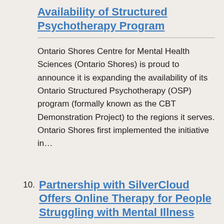Availability of Structured Psychotherapy Program
Ontario Shores Centre for Mental Health Sciences (Ontario Shores) is proud to announce it is expanding the availability of its Ontario Structured Psychotherapy (OSP) program (formally known as the CBT Demonstration Project) to the regions it serves. Ontario Shores first implemented the initiative in…
10. Partnership with SilverCloud Offers Online Therapy for People Struggling with Mental Illness